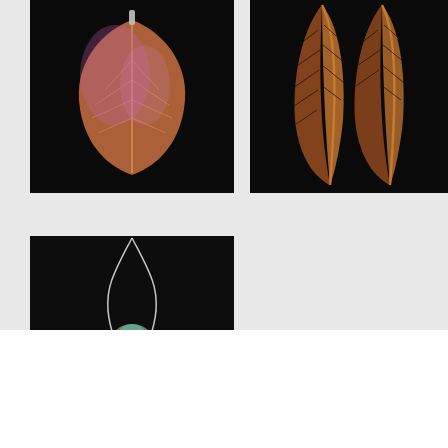[Figure (photo): Jewelry piece — an iridescent pink/orange leaf-shaped pendant against a black background]
[Figure (photo): Two large brown and black striped feathers against a black background]
[Figure (photo): Necklace with silver chain, a gemstone setting in turquoise/amber, and two feather pendants hanging below, on a black background]
“The love of horses and seeing the landscape from the